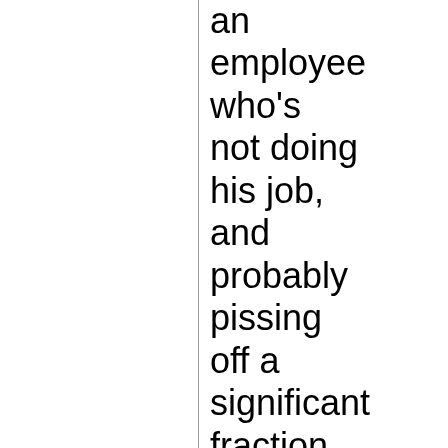an employee who's not doing his job, and probably pissing off a significant fraction of customers.

Yes, employees don't totally lose their free speech